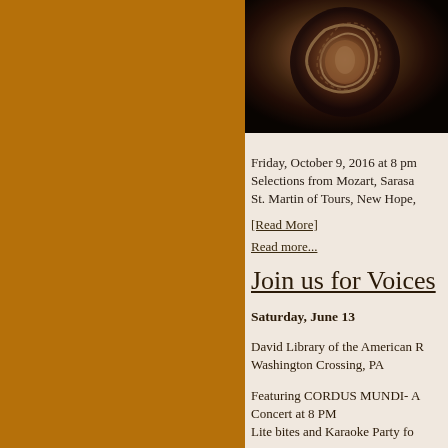[Figure (photo): Close-up photo of an ornate bronze or copper decorative sculpture with swirling relief detail, dark background]
Friday, October 9, 2016 at 8 pm Selections from Mozart, Sarasa St. Martin of Tours, New Hope,
[Read More]
Read more...
Join us for Voices
Saturday, June 13
David Library of the American R Washington Crossing, PA
Featuring CORDUS MUNDI- A Concert at 8 PM
Lite bites and Karaoke Party fo